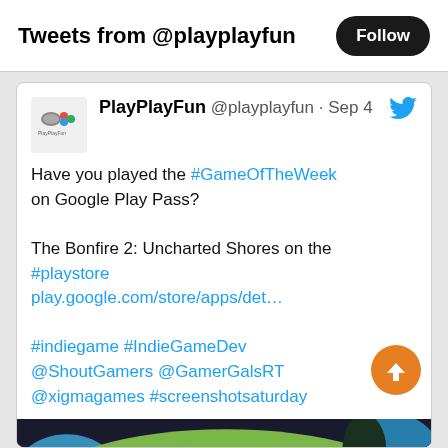Tweets from @playplayfun
PlayPlayFun @playplayfun · Sep 4
Have you played the #GameOfTheWeek on Google Play Pass?

The Bonfire 2: Uncharted Shores on the #playstore play.google.com/store/apps/det…

#indiegame #IndieGameDev @ShoutGamers @GamerGalsRT @xigmagames #screenshotsaturday
[Figure (screenshot): Screenshot of The Bonfire 2: Uncharted Shores game showing a top-down isometric view of a village with buildings, trees, water, and a Google Play store card below showing the app details with a Play button, 4.7 star rating, Teen rating, FredBear Games Ltd developer, Contains ads and In-app purchases notice.]